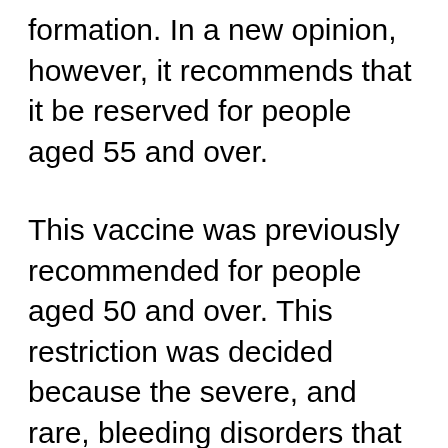formation. In a new opinion, however, it recommends that it be reserved for people aged 55 and over.
This vaccine was previously recommended for people aged 50 and over. This restriction was decided because the severe, and rare, bleeding disorders that had motivated the suspension of this vaccine in several European countries were only observed in under 55s, the French health authority said. There have been three cases in France, she added.